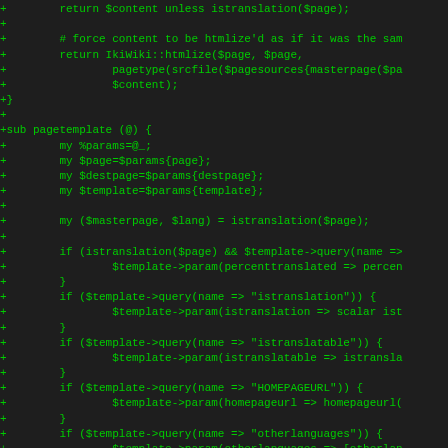[Figure (screenshot): A code diff screenshot showing Perl code additions (lines prefixed with '+') in green monospace font on dark background. The code shows IkiWiki translation plugin functions including pagetemplate subroutine with istranslation checks.]